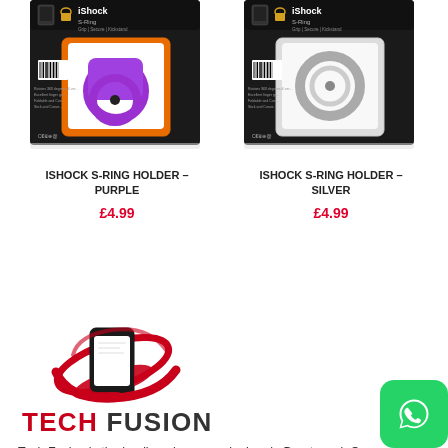[Figure (photo): iShock S-Ring Holder Purple product packaging photo]
[Figure (photo): iShock S-Ring Holder Silver product packaging photo]
ISHOCK S-RING HOLDER – PURPLE
£4.99
ISHOCK S-RING HOLDER – SILVER
£4.99
[Figure (logo): Tech Fusion logo — smartphone with red orbit arc and TECH FUSION brand name]
Tech Fusion is the leading phone repair shop in Brentwood. Our knowledgeable, experienced and professional staff can provide a